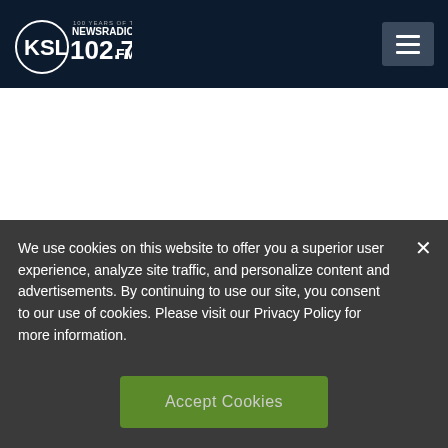KSL NewsRadio 102.7FM
Best Buy said late last year it was reducing the amount of floor space set aside for
We use cookies on this website to offer you a superior user experience, analyze site traffic, and personalize content and advertisements. By continuing to use our site, you consent to our use of cookies. Please visit our Privacy Policy for more information.
Accept Cookies